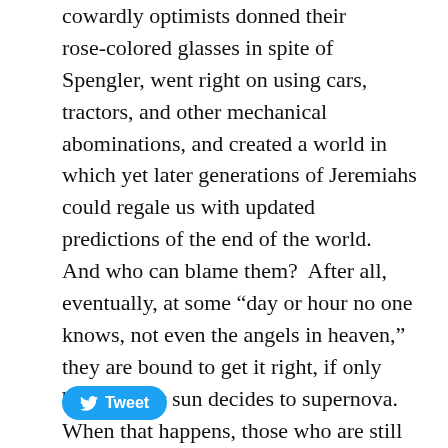cowardly optimists donned their rose-colored glasses in spite of Spengler, went right on using cars, tractors, and other mechanical abominations, and created a world in which yet later generations of Jeremiahs could regale us with updated predictions of the end of the world.  And who can blame them?  After all, eventually, at some “day or hour no one knows, not even the angels in heaven,” they are bound to get it right, if only because our sun decides to supernova.  When that happens, those who are still around are bound to dust off their ancient history books, smile knowingly, and say, “See, Spengler was right after all!”
[Figure (other): Twitter Tweet button with bird icon]